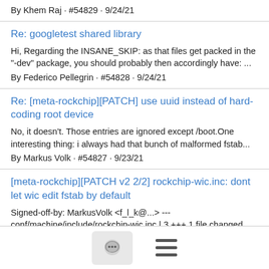By Khem Raj · #54829 · 9/24/21
Re: googletest shared library
Hi, Regarding the INSANE_SKIP: as that files get packed in the "-dev" package, you should probably then accordingly have: ...
By Federico Pellegrin · #54828 · 9/24/21
Re: [meta-rockchip][PATCH] use uuid instead of hard-coding root device
No, it doesn't. Those entries are ignored except /boot.One interesting thing: i always had that bunch of malformed fstab...
By Markus Volk · #54827 · 9/23/21
[meta-rockchip][PATCH v2 2/2] rockchip-wic.inc: dont let wic edit fstab by default
Signed-off-by: MarkusVolk <f_l_k@...> --- conf/machine/include/rockchip-wic.inc | 3 +++ 1 file changed, 3...
By Markus Volk · #54826 · 9/23/21
[Figure (screenshot): Footer bar with chat bubble icon button and hamburger menu icon]